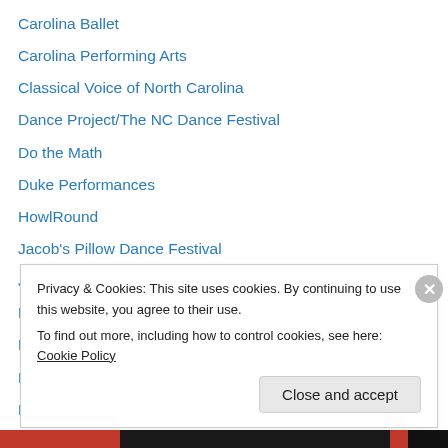Carolina Ballet
Carolina Performing Arts
Classical Voice of North Carolina
Dance Project/The NC Dance Festival
Do the Math
Duke Performances
HowlRound
Jacob's Pillow Dance Festival
Jacob's Pillow's Dance Interactive
Lystra Books and Literary Services
North Carolina Dance Theatre
Nrityagram–Dance Village, near Bangalore
Regulator Bookshop
Privacy & Cookies: This site uses cookies. By continuing to use this website, you agree to their use.
To find out more, including how to control cookies, see here: Cookie Policy